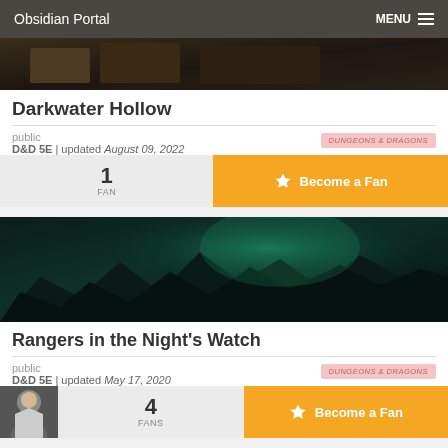Obsidian Portal | MENU
[Figure (screenshot): Dark interior scene banner image for Darkwater Hollow]
Darkwater Hollow
public
D&D 5E | updated August 09, 2022
[Figure (logo): Dungeons & Dragons logo badge]
1 FAN
Become a Fan
[Figure (screenshot): Dark fantasy landscape with teal atmospheric lighting for Rangers in the Night's Watch]
Rangers in the Night's Watch
public
D&D 5E | updated May 17, 2020
[Figure (logo): Dungeons & Dragons logo badge]
4 FANS
Become a Fan